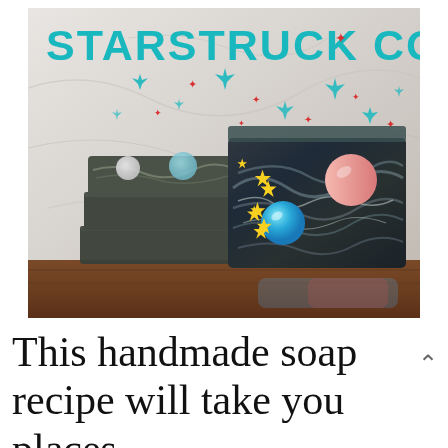[Figure (photo): Photo of handmade soap bars with swirled dark blue and grey pattern, decorated with yellow stars and colorful spheres (pink and blue). The soap bars are stacked on a wooden surface against a marble background. The brand name 'STARSTRUCK COCO' is overlaid in teal bold text at the top, with red and teal sparkle/star graphics scattered above the soap.]
This handmade soap recipe will take you places